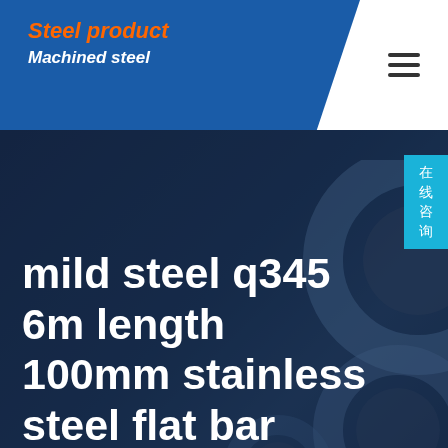Steel product / Machined steel
mild steel q345 6m length 100mm stainless steel flat bar
在线咨询
Home / mild steel q345 6m length 100mm stainless steel flat bar